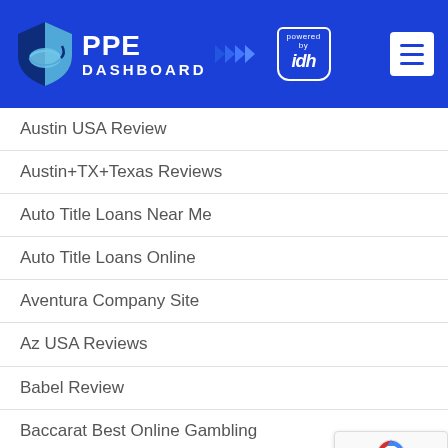PPE DASHBOARD powered by idh
Austin USA Review
Austin+TX+Texas Reviews
Auto Title Loans Near Me
Auto Title Loans Online
Aventura Company Site
Az USA Reviews
Babel Review
Baccarat Best Online Gambling
Baccarat Online Canadian Gambling